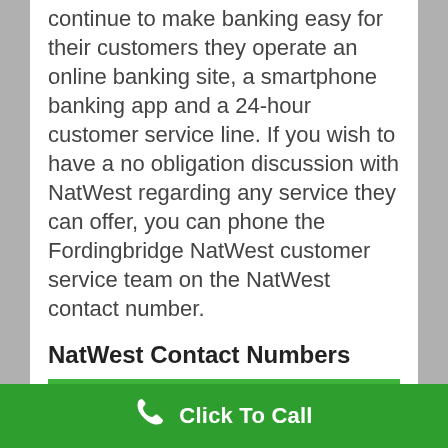continue to make banking easy for their customers they operate an online banking site, a smartphone banking app and a 24-hour customer service line. If you wish to have a no obligation discussion with NatWest regarding any service they can offer, you can phone the Fordingbridge NatWest customer service team on the NatWest contact number.
NatWest Contact Numbers
| HELPLINE | NUMBERS |
| --- | --- |
| NatWestFordingbridge Customer |  |
Click To Call